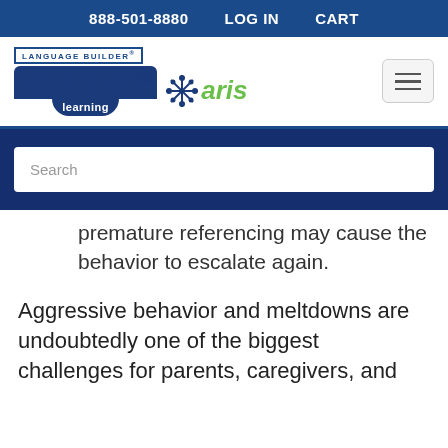888-501-8880   LOG IN   CART
[Figure (logo): Language Builder Stages Learning + aris logo with hamburger menu button]
[Figure (screenshot): Dark blue search band with a search input box placeholder text 'Search']
premature referencing may cause the behavior to escalate again.
Aggressive behavior and meltdowns are undoubtedly one of the biggest challenges for parents, caregivers, and